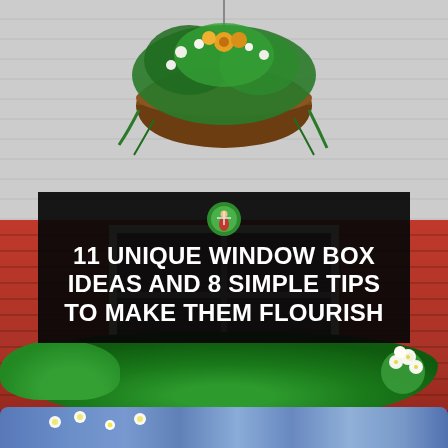[Figure (photo): Outdoor photo showing a red-sided building with a white-framed window. A decorative hanging basket with flowers (orange, yellow, white, green) is mounted above. Below the window is a window box filled with large green leafy plants, white flowers, and blue flowers in the foreground.]
11 UNIQUE WINDOW BOX IDEAS AND 8 SIMPLE TIPS TO MAKE THEM FLOURISH